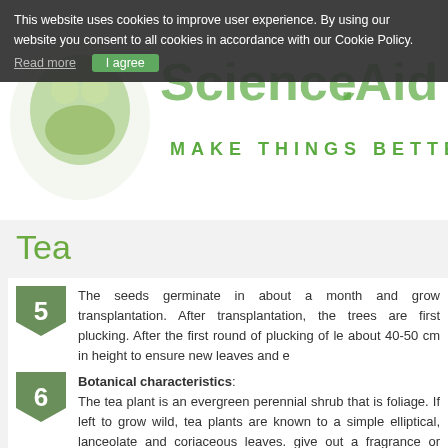Tea — Science Aid
[Figure (logo): Science Aid logo with frog mascot and tagline MAKE THINGS BETTER]
Tea
The seeds germinate in about a month and grow to transplantation. After transplantation, the trees are allowed first plucking. After the first round of plucking of leaves, about 40-50 cm in height to ensure new leaves and e
Botanical characteristics:
The tea plant is an evergreen perennial shrub that is foliage. If left to grow wild, tea plants are known to ac simple elliptical, lanceolate and coriaceous leaves. Y give out a fragrance or aroma. For fine tea, the uppe plucked and after plucking they are known as flushe